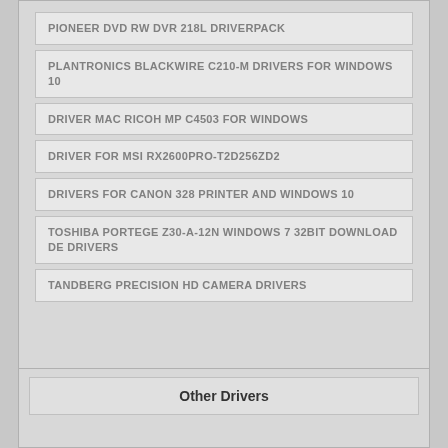PIONEER DVD RW DVR 218L DRIVERPACK
PLANTRONICS BLACKWIRE C210-M DRIVERS FOR WINDOWS 10
DRIVER MAC RICOH MP C4503 FOR WINDOWS
DRIVER FOR MSI RX2600PRO-T2D256ZD2
DRIVERS FOR CANON 328 PRINTER AND WINDOWS 10
TOSHIBA PORTEGE Z30-A-12N WINDOWS 7 32BIT DOWNLOAD DE DRIVERS
TANDBERG PRECISION HD CAMERA DRIVERS
Other Drivers